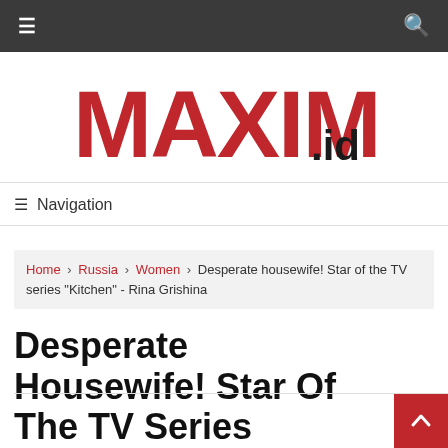≡  🔍
[Figure (logo): MAXIM.id logo — large red bubble letters 'MAXIM' with white outline, followed by '.id' in black]
☰ Navigation
Home › Russia › Women › Desperate housewife! Star of the TV series "Kitchen" - Rina Grishina
Desperate Housewife! Star Of The TV Series "Kitchen" - Rina Grishina